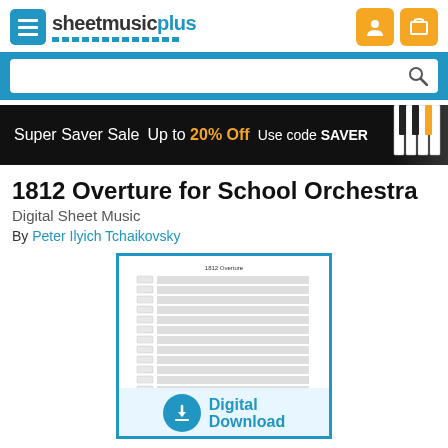sheetmusicplus
[Figure (screenshot): Search bar with blue background and magnifying glass icon]
[Figure (infographic): Super Saver Sale banner: Up to 20% Off, Use code SAVER, with piano keys image on right]
1812 Overture for School Orchestra
Digital Sheet Music
By Peter Ilyich Tchaikovsky
[Figure (photo): Sheet music score preview for 1812 Overture with Digital Download badge overlay]